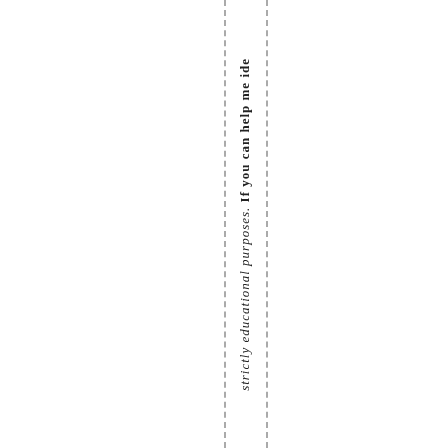strictly educational purposes. If you can help me ide